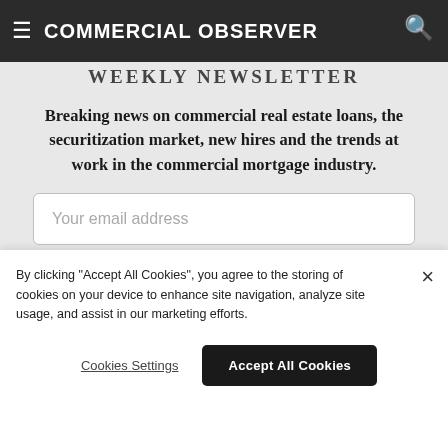COMMERCIAL OBSERVER
WEEKLY NEWSLETTER
Breaking news on commercial real estate loans, the securitization market, new hires and the trends at work in the commercial mortgage industry.
Your email address
SIGN UP
By clicking "Accept All Cookies", you agree to the storing of cookies on your device to enhance site navigation, analyze site usage, and assist in our marketing efforts.
Cookies Settings
Accept All Cookies